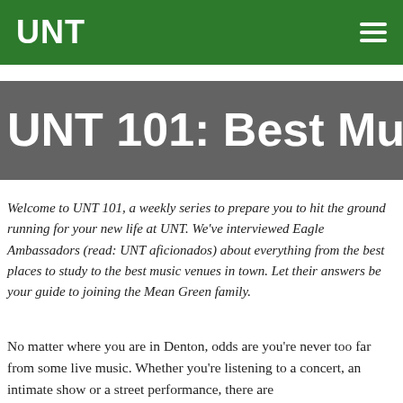UNT
UNT 101: Best Music Venue
Welcome to UNT 101, a weekly series to prepare you to hit the ground running for your new life at UNT. We've interviewed Eagle Ambassadors (read: UNT aficionados) about everything from the best places to study to the best music venues in town. Let their answers be your guide to joining the Mean Green family.
No matter where you are in Denton, odds are you're never too far from some live music. Whether you're listening to a concert, an intimate show or a street performance, there are